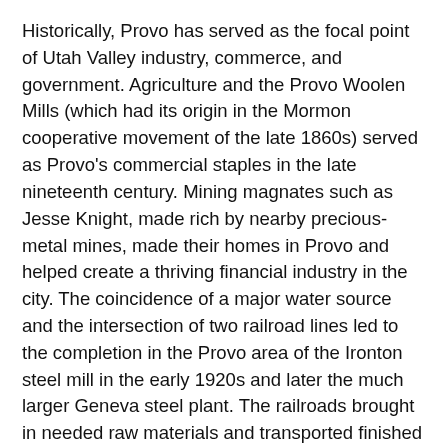Historically, Provo has served as the focal point of Utah Valley industry, commerce, and government. Agriculture and the Provo Woolen Mills (which had its origin in the Mormon cooperative movement of the late 1860s) served as Provo's commercial staples in the late nineteenth century. Mining magnates such as Jesse Knight, made rich by nearby precious-metal mines, made their homes in Provo and helped create a thriving financial industry in the city. The coincidence of a major water source and the intersection of two railroad lines led to the completion in the Provo area of the Ironton steel mill in the early 1920s and later the much larger Geneva steel plant. The railroads brought in needed raw materials and transported finished steel products from Provo. Area residents currently argue about whether the Geneva plant, which many assert is a major cause of Provo's serious air pollution problems, should continue to be operated or whether Provo should rely on new high technology as its industrial base. As county seat of Utah County, Provo is the home of county offices and courts. Since the mid-1880s Provo has been the home of the State Hospital, originally the Territorial Insane Asylum. Because of its close proximity to the mountains, Utah Lake, and rivers, Provo residents have many recreational outlets. In winter, alpine and cross-country skiing, ice skating, and other